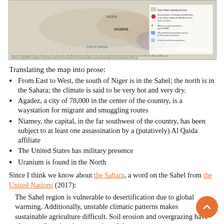[Figure (map): Map of the Sahel/Sahara region showing Niger and surrounding countries, with legend indicating Boko Haram operational area, assassination/kidnapping by Al Qaida, military/police operations against AQM, US armed forces presence, and French armed forces presence.]
Translating the map into prose:
From East to West, the south of Niger is in the Sahel; the north is in the Sahara; the climate is said to be very hot and very dry.
Agadez, a city of 78,000 in the center of the country, is a waystation for migrant and smuggling routes
Niamey, the capital, in the far southwest of the country, has been subject to at least one assassination by a (putatively) Al Qaida affiliate
The United States has military presence
Uranium is found in the North
Since I think we know about the Sahara, a word on the Sahel from the United Nations (2017):
The Sahel region is vulnerable to desertification due to global warming. Additionally, unstable climatic patterns makes sustainable agriculture difficult. Soil erosion and overgrazing have also contributed to the expansion of the